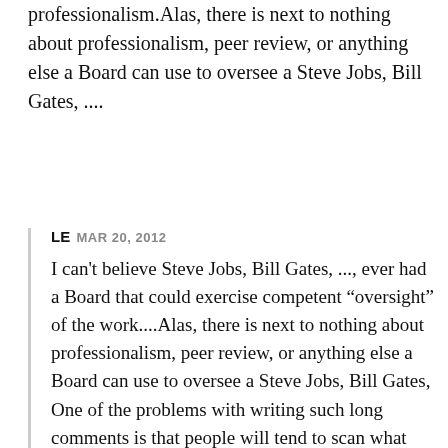professionalism.Alas, there is next to nothing about professionalism, peer review, or anything else a Board can use to oversee a Steve Jobs, Bill Gates, ....
LE MAR 20, 2012
I can't believe Steve Jobs, Bill Gates, ..., ever had a Board that could exercise competent “oversight” of the work....Alas, there is next to nothing about professionalism, peer review, or anything else a Board can use to oversee a Steve Jobs, Bill Gates, One of the problems with writing such long comments is that people will tend to scan what you say. And if they do they will stop and take in that example (because Steve and Bill are eye candy) but probably only bits and pieces of the